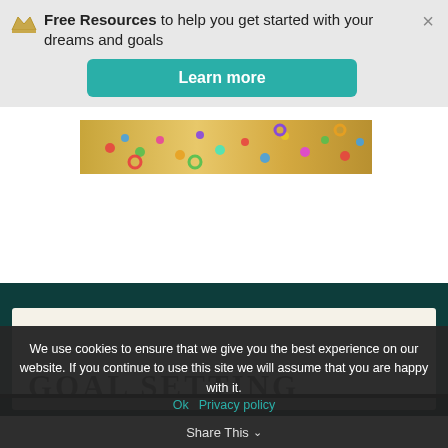Free Resources to help you get started with your dreams and goals
Learn more
[Figure (photo): Colorful cereal pieces scattered on a golden/sandy background]
[Figure (photo): Book cover preview showing 'GOAL SETTING' text on cream background]
We use cookies to ensure that we give you the best experience on our website. If you continue to use this site we will assume that you are happy with it.
Ok   Privacy policy
Share This